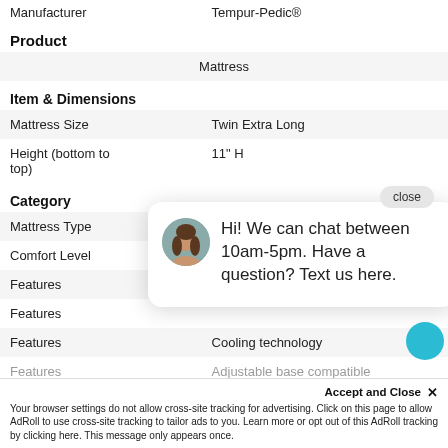|  |  |
| --- | --- |
| Manufacturer | Tempur-Pedic® |
| Product |  |
|  | Mattress |
| Item & Dimensions |  |
| Mattress Size | Twin Extra Long |
| Height (bottom to top) | 11" H |
| Category |  |
| Mattress Type |  |
| Comfort Level |  |
| Features |  |
| Features |  |
| Features | Cooling technology |
| Features | Adjustable base compatible |
[Figure (screenshot): Chat popup overlay with avatar photo and message: 'Hi! We can chat between 10am-5pm. Have a question? Text us here.' with a close button.]
Accept and Close ✕
Your browser settings do not allow cross-site tracking for advertising. Click on this page to allow AdRoll to use cross-site tracking to tailor ads to you. Learn more or opt out of this AdRoll tracking by clicking here. This message only appears once.